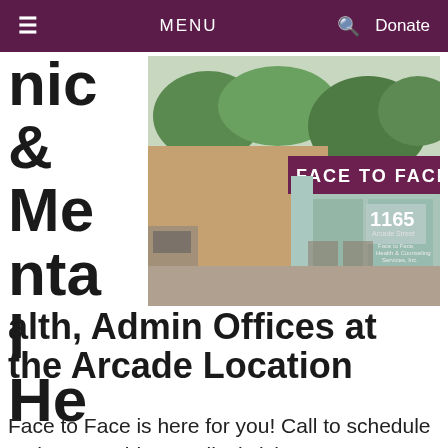≡  MENU  🔍  Donate
nic & Mental Health, Admin Offices at the Arcade Location
[Figure (photo): Exterior photo of Face to Face building at 1165 Arcade Street, showing the 'FACE TO FACE' sign above the entrance with a light blue column and glass doors]
Face to Face is here for you! Call to schedule a phone or video medical visit at 651.772.5555. We are open from 10